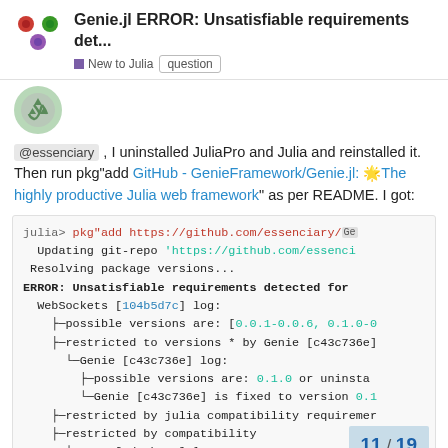Genie.jl ERROR: Unsatisfiable requirements det... | New to Julia | question
[Figure (illustration): User avatar circle with green recycle-like icon]
@essenciary , I uninstalled JuliaPro and Julia and reinstalled it. Then run pkg"add GitHub - GenieFramework/Genie.jl: 🌟The highly productive Julia web framework" as per README. I got:
julia> pkg"add https://github.com/essenciary/Ge
  Updating git-repo 'https://github.com/essenci
  Resolving package versions...
ERROR: Unsatisfiable requirements detected for
  WebSockets [104b5d7c] log:
    ├─possible versions are: [0.0.1-0.0.6, 0.1.0-0
    ├─restricted to versions * by Genie [c43c736e]
      └─Genie [c43c736e] log:
          ├─possible versions are: 0.1.0 or uninsta
          └─Genie [c43c736e] is fixed to version 0.1
    ├─restricted by julia compatibility requiremer
    ├─restricted by compatibility
      └─HTTP [cd3eb016] log:
11 / 19